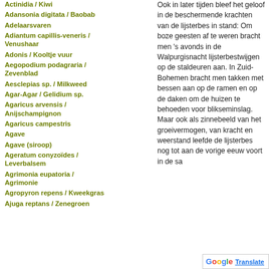Actinidia / Kiwi
Adansonia digitata / Baobab
Adelaarsvaren
Adiantum capillis-veneris / Venushaar
Adonis / Kooltje vuur
Aegopodium podagraria / Zevenblad
Aesclepias sp. / Milkweed
Agar-Agar / Gelidium sp.
Agaricus arvensis / Anijschampignon
Agaricus campestris
Agave
Agave (siroop)
Ageratum conyzoïdes / Leverbalsem
Agrimonia eupatoria / Agrimonie
Agropyron repens / Kweekgras
Ajuga reptans / Zenegroen
Ook in later tijden bleef het geloof in de beschermende krachten van de lijsterbes in stand: Om boze geesten af te weren bracht men 's avonds in de Walpurgisnacht lijsterbestwijgen op de staldeuren aan. In Zuid-Bohemen bracht men takken met bessen aan op de ramen en op de daken om de huizen te behoeden voor blikseminslag. Maar ook als zinnebeeld van het groeivermogen, van kracht en weerstand leefde de lijsterbes nog tot aan de vorige eeuw voort in de sa